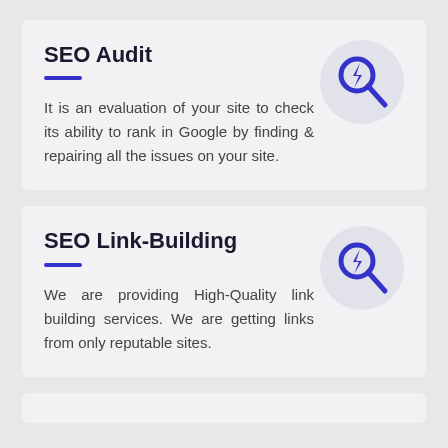SEO Audit
It is an evaluation of your site to check its ability to rank in Google by finding & repairing all the issues on your site.
[Figure (illustration): Blue lightning bolt magnifying glass icon on a light gray circle background]
SEO Link-Building
We are providing High-Quality link building services. We are getting links from only reputable sites.
[Figure (illustration): Blue lightning bolt magnifying glass icon on a light gray circle background]